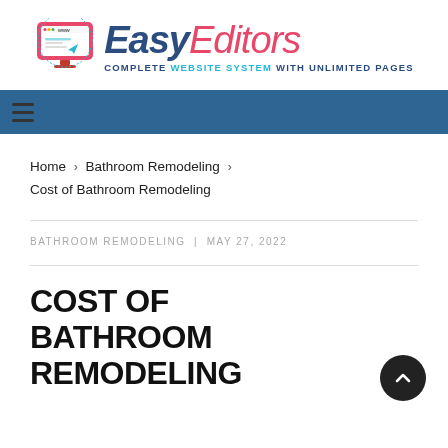[Figure (logo): EasyEditors logo with computer icon, bold pink and blue text reading 'EasyEditors', tagline: 'COMPLETE WEBSITE SYSTEM WITH UNLIMITED PAGES']
[Figure (other): Blue navigation bar with hamburger menu icon on the left]
Home > Bathroom Remodeling >
Cost of Bathroom Remodeling
BATHROOM REMODELING | MAY 27, 2022
COST OF BATHROOM REMODELING